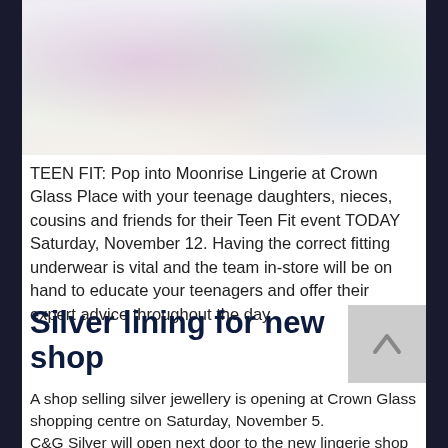[Figure (photo): Blurred/soft-focus photograph, likely showing colourful items in a shop display, appears washed out and overexposed]
TEEN FIT: Pop into Moonrise Lingerie at Crown Glass Place with your teenage daughters, nieces, cousins and friends for their Teen Fit event TODAY Saturday, November 12. Having the correct fitting underwear is vital and the team in-store will be on hand to educate your teenagers and offer their expert advice throughout the day.
Silver lining for new shop
A shop selling silver jewellery is opening at Crown Glass shopping centre on Saturday, November 5.
C&G Silver will open next door to the new lingerie shop sharing the former building society premises at Crown Glass Place which has been